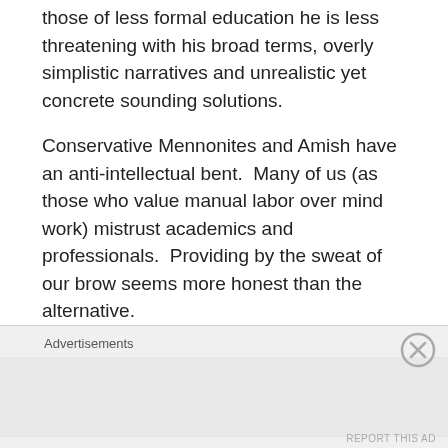those of less formal education he is less threatening with his broad terms, overly simplistic narratives and unrealistic yet concrete sounding solutions.
Conservative Mennonites and Amish have an anti-intellectual bent.  Many of us (as those who value manual labor over mind work) mistrust academics and professionals.  Providing by the sweat of our brow seems more honest than the alternative.
Unfortunately this attitude can lead us to being too dismissive of intellectual pursuits.  It causes some to ignore the warnings of the
Advertisements